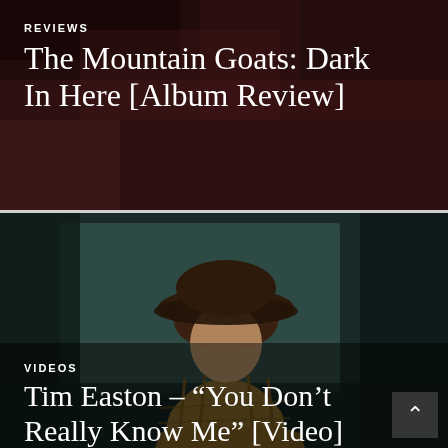REVIEWS
The Mountain Goats: Dark In Here [Album Review]
[Figure (photo): Man in a brown plaid shirt and dark fedora hat, leaning forward with arms crossed, photographed against a dark teal/green background]
VIDEOS
Tim Easton – “You Don’t Really Know Me” [Video]